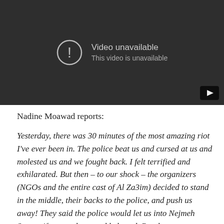[Figure (screenshot): A YouTube-style video player showing 'Video unavailable / This video is unavailable' message on a dark background, with a play button icon in the bottom right corner.]
Nadine Moawad reports:
Yesterday, there was 30 minutes of the most amazing riot I've ever been in. The police beat us and cursed at us and molested us and we fought back. I felt terrified and exhilarated. But then – to our shock – the organizers (NGOs and the entire cast of Al Za3im) decided to stand in the middle, their backs to the police, and push us away! They said the police would let us into Nejmeh Square if we sat down and behaved. But the